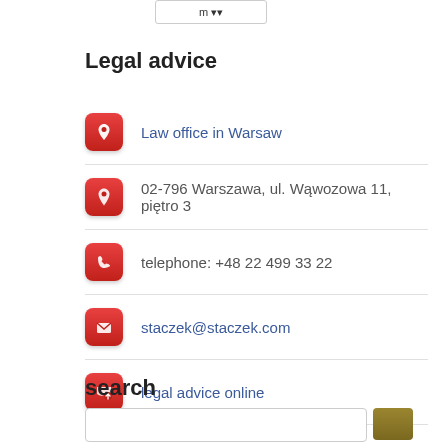[Figure (other): Navigation button/element at top]
Legal advice
Law office in Warsaw
02-796 Warszawa, ul. Wąwozowa 11, piętro 3
telephone: +48 22 499 33 22
staczek@staczek.com
legal advice online
search